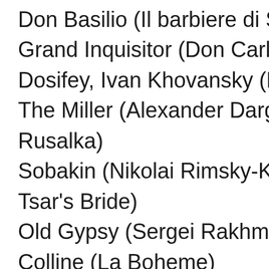Don Basilio (Il barbiere di Siviglia)
Grand Inquisitor (Don Carlos)
Dosifey, Ivan Khovansky (Khovan…
The Miller (Alexander Dargomyzh… Rusalka)
Sobakin (Nikolai Rimsky-Korsakov… Tsar's Bride)
Old Gypsy (Sergei Rakhmaninov's…
Colline (La Boheme)
Title Role (Giuseppe Verdi's Attila…